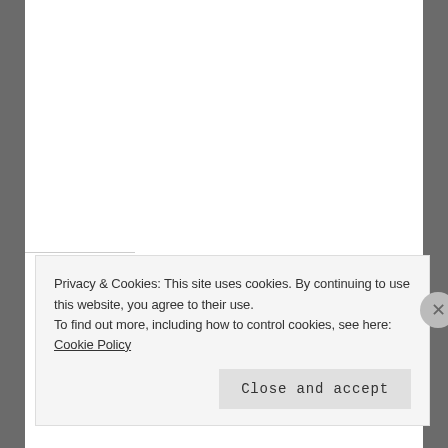Share this:
[Figure (illustration): Row of five circular social sharing buttons: Facebook (blue), Twitter (cyan), Pinterest (red), Print (light gray), Email (light gray)]
Loading…
Privacy & Cookies: This site uses cookies. By continuing to use this website, you agree to their use.
To find out more, including how to control cookies, see here: Cookie Policy
Close and accept